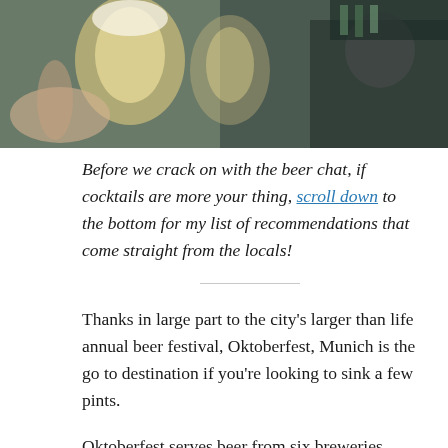[Figure (photo): Photo of people raising large beer mugs/steins in a bar setting, taken from below/close up, with a dark bar background]
Before we crack on with the beer chat, if cocktails are more your thing, scroll down to the bottom for my list of recommendations that come straight from the locals!
Thanks in large part to the city's larger than life annual beer festival, Oktoberfest, Munich is the go to destination if you're looking to sink a few pints.
Oktoberfest serves beer from six breweries, coined 'the big six' which each brag lively beerhalls, alive with cantankerous singing and the oom-pah-pah of